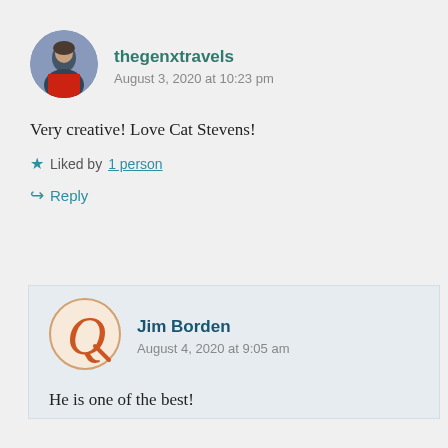[Figure (photo): Circular avatar photo of thegenxtravels user showing a person outdoors]
thegenxtravels
August 3, 2020 at 10:23 pm
Very creative! Love Cat Stevens!
★ Liked by 1 person
↳ Reply
[Figure (logo): Circular avatar with letter Q for Jim Borden]
Jim Borden
August 4, 2020 at 9:05 am
He is one of the best!